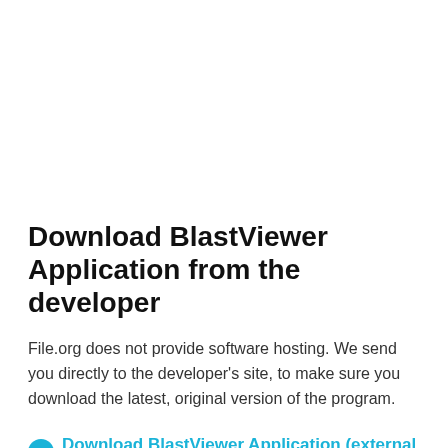Download BlastViewer Application from the developer
File.org does not provide software hosting. We send you directly to the developer's site, to make sure you download the latest, original version of the program.
Download BlastViewer Application (external link)